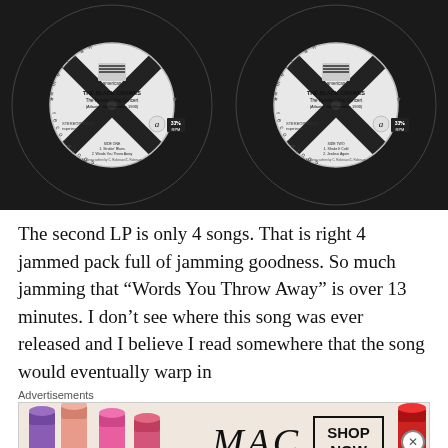[Figure (photo): Two vinyl record labels side by side for The Black Crowes 'The Homecoming Concert (Atlanta, GA December 1990)' on American Recordings. Left label shows Side 1 tracks: Struttin' Blues, Words You Throw Away. Right label shows Side 2 tracks. Both show 33 1/3 RPM, Stereophonic, American Recordings logo.]
The second LP is only 4 songs. That is right 4 jammed pack full of jamming goodness. So much jamming that “Words You Throw Away” is over 13 minutes. I don’t see where this song was ever released and I believe I read somewhere that the song would eventually warp in
Advertisements
[Figure (photo): MAC cosmetics advertisement showing lipsticks, MAC logo, and SHOP NOW button]